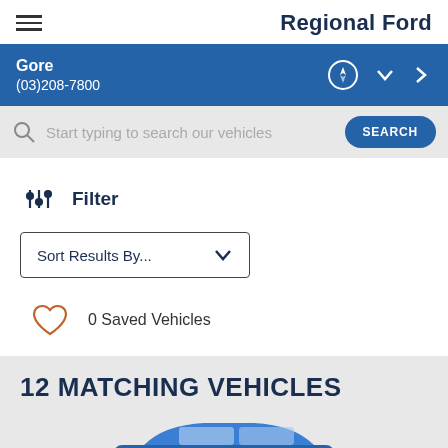Regional Ford
Gore
(03)208-7800
Start typing to search our vehicles
Filter
Sort Results By...
0 Saved Vehicles
12 MATCHING VEHICLES
[Figure (photo): Partial view of a blue vehicle at the bottom of the page]